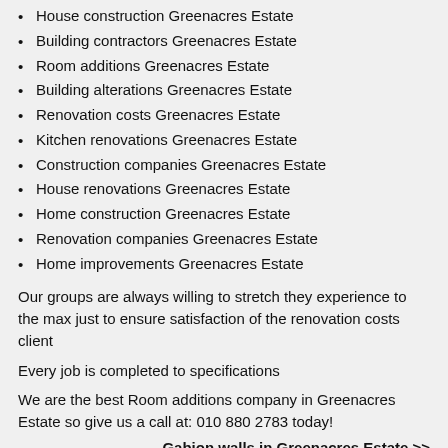House construction Greenacres Estate
Building contractors Greenacres Estate
Room additions Greenacres Estate
Building alterations Greenacres Estate
Renovation costs Greenacres Estate
Kitchen renovations Greenacres Estate
Construction companies Greenacres Estate
House renovations Greenacres Estate
Home construction Greenacres Estate
Renovation companies Greenacres Estate
Home improvements Greenacres Estate
Our groups are always willing to stretch they experience to the max just to ensure satisfaction of the renovation costs client
Every job is completed to specifications
We are the best Room additions company in Greenacres Estate so give us a call at: 010 880 2783 today!
Gabion walls in Greenacres Estate >>
-> Room additions in Sandspruit
-> Room additions in Carlswald Estate
-> Room additions in Southfork
-> Room additions in Elsieshof
-> Room additions in Eastfield